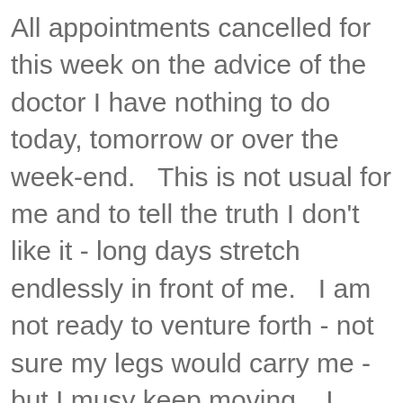All appointments cancelled for this week on the advice of the doctor I have nothing to do today, tomorrow or over the week-end.   This is not usual for me and to tell the truth I don't like it - long days stretch endlessly in front of me.   I am not ready to venture forth - not sure my legs would carry me - but I musy keep moving.   I have my Covid booster next week when friend S is taking me to Hawes - must be ready for that.   But at least the chemist has said he will come out to the car to give me the injection if necessary.